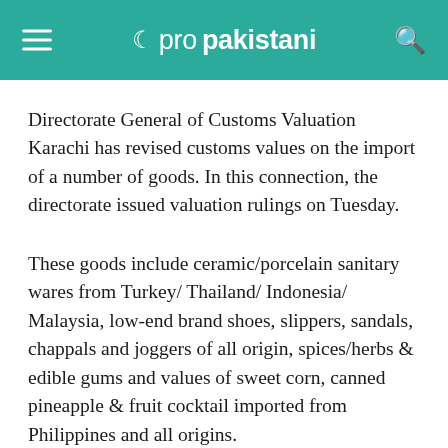propakistani
Directorate General of Customs Valuation Karachi has revised customs values on the import of a number of goods. In this connection, the directorate issued valuation rulings on Tuesday.
These goods include ceramic/porcelain sanitary wares from Turkey/ Thailand/ Indonesia/ Malaysia, low-end brand shoes, slippers, sandals, chappals and joggers of all origin, spices/herbs & edible gums and values of sweet corn, canned pineapple & fruit cocktail imported from Philippines and all origins.